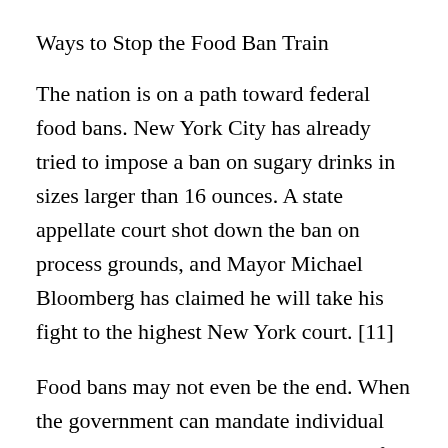Ways to Stop the Food Ban Train
The nation is on a path toward federal food bans. New York City has already tried to impose a ban on sugary drinks in sizes larger than 16 ounces. A state appellate court shot down the ban on process grounds, and Mayor Michael Bloomberg has claimed he will take his fight to the highest New York court. [11]
Food bans may not even be the end. When the government can mandate individual action as it has in Obamacare, it is not far-fetched to think that it could try to mandate that people go to the gym or enroll in a diet program.
The only way to get off this path to food bans is for